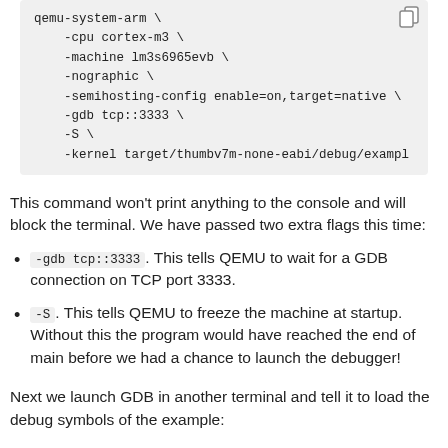[Figure (screenshot): Code block showing a QEMU command with options: qemu-system-arm, -cpu cortex-m3, -machine lm3s6965evb, -nographic, -semihosting-config enable=on,target=native, -gdb tcp::3333, -S, -kernel target/thumbv7m-none-eabi/debug/exampl]
This command won't print anything to the console and will block the terminal. We have passed two extra flags this time:
-gdb tcp::3333. This tells QEMU to wait for a GDB connection on TCP port 3333.
-S. This tells QEMU to freeze the machine at startup. Without this the program would have reached the end of main before we had a chance to launch the debugger!
Next we launch GDB in another terminal and tell it to load the debug symbols of the example: